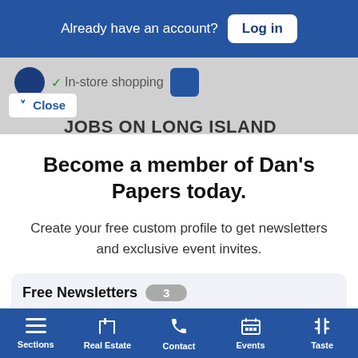Already have an account? Log in
[Figure (screenshot): Background of a map/store listing page showing an in-store shopping label with a checkmark, a dark circle icon, and navigation arrows. A 'Close' button and 'JOBS ON LONG ISLAND' heading are visible.]
Become a member of Dan's Papers today.
Create your free custom profile to get newsletters and exclusive event invites.
Free Newsletters 3
Dan's Daily
Dan's Hamptons Insider
Sections  Real Estate  Contact  Events  Taste